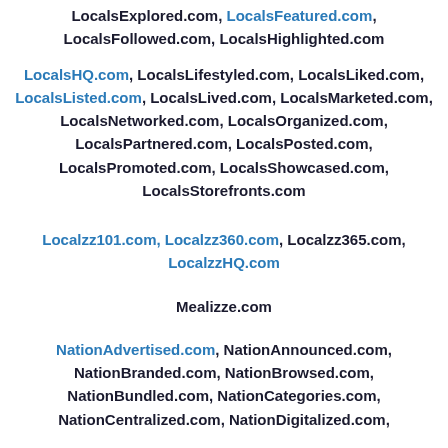LocalsExplored.com, LocalsFeatured.com, LocalsFollowed.com, LocalsHighlighted.com
LocalsHQ.com, LocalsLifestyled.com, LocalsLiked.com, LocalsListed.com, LocalsLived.com, LocalsMarketed.com, LocalsNetworked.com, LocalsOrganized.com, LocalsPartnered.com, LocalsPosted.com, LocalsPromoted.com, LocalsShowcased.com, LocalsStorefronts.com
Localzz101.com, Localzz360.com, Localzz365.com, LocalzzHQ.com
Mealizze.com
NationAdvertised.com, NationAnnounced.com, NationBranded.com, NationBrowsed.com, NationBundled.com, NationCategories.com, NationCentralized.com, NationDigitalized.com,